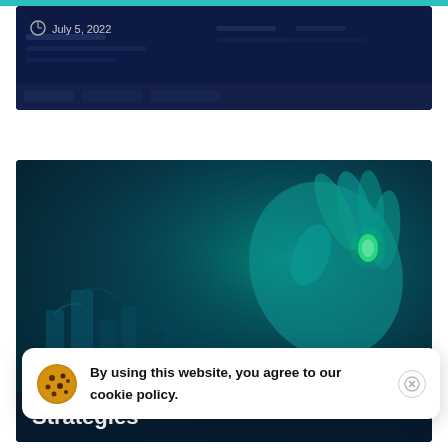[Figure (screenshot): Dark blue screenshot of a website or dashboard interface showing a date 'July 5, 2022' with a clock icon on the left side. The background shows blurred text and UI elements on a dark navy background.]
[Figure (photo): Dark teal-tinted photo of a laboratory scientist holding a small glowing green sample with gloved hands. Background shows blurred lab equipment and bar-chart-like structures in blue and teal tones.]
By using this website, you agree to our cookie policy.
Strategies